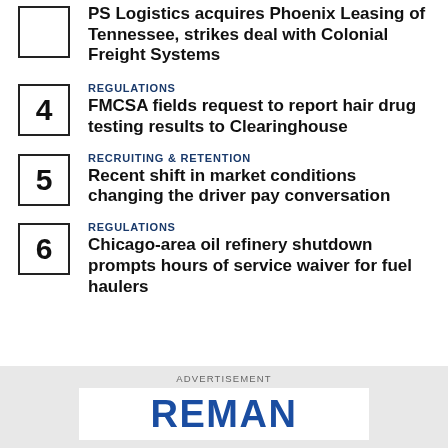PS Logistics acquires Phoenix Leasing of Tennessee, strikes deal with Colonial Freight Systems
REGULATIONS
FMCSA fields request to report hair drug testing results to Clearinghouse
RECRUITING & RETENTION
Recent shift in market conditions changing the driver pay conversation
REGULATIONS
Chicago-area oil refinery shutdown prompts hours of service waiver for fuel haulers
[Figure (other): Advertisement banner for REMAN]